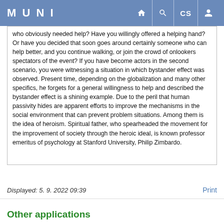MUNI
who obviously needed help? Have you willingly offered a helping hand? Or have you decided that soon goes around certainly someone who can help better, and you continue walking, or join the crowd of onlookers spectators of the event? If you have become actors in the second scenario, you were witnessing a situation in which bystander effect was observed. Present time, depending on the globalization and many other specifics, he forgets for a general willingness to help and described the bystander effect is a shining example. Due to the peril that human passivity hides are apparent efforts to improve the mechanisms in the social environment that can prevent problem situations. Among them is the idea of heroism. Spiritual father, who spearheaded the movement for the improvement of society through the heroic ideal, is known professor emeritus of psychology at Stanford University, Philip Zimbardo.
Displayed: 5. 9. 2022 09:39    Print
Other applications